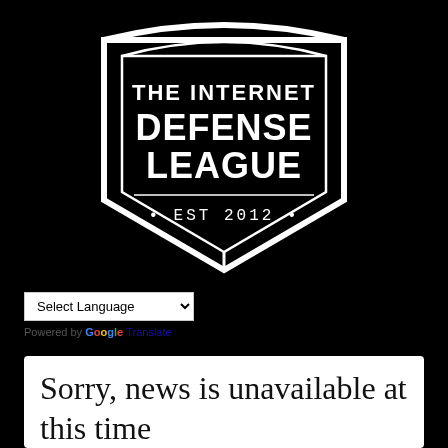[Figure (logo): The Internet Defense League shield logo with text 'THE INTERNET DEFENSE LEAGUE' and '• EST 2012 •' on a black background]
Select Language (dropdown) — Powered by Google Translate
Sorry, news is unavailable at this time